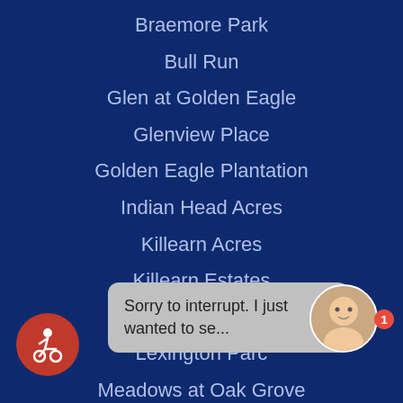Braemore Park
Bull Run
Glen at Golden Eagle
Glenview Place
Golden Eagle Plantation
Indian Head Acres
Killearn Acres
Killearn Estates
Killearn Lakes
Lexington Parc
Meadows at Oak Grove
Midtown
Ox Bottom Crest
Ox Bottom Manor
Persim...
Pine D...
Piney 7